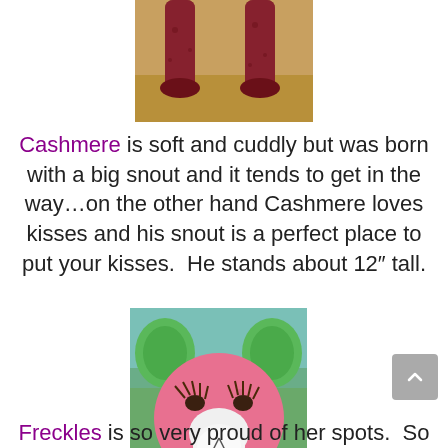[Figure (photo): Close-up photo of a dark red/maroon plush animal toy legs on a wooden surface]
Cashmere is soft and cuddly but was born with a big snout and it tends to get in the way…on the other hand Cashmere loves kisses and his snout is a perfect place to put your kisses.  He stands about 12" tall.
[Figure (photo): Close-up photo of a pink stuffed animal (giraffe or similar) with large green ears and dramatic eyelashes, white snout]
Freckles is so very proud of her spots.  So